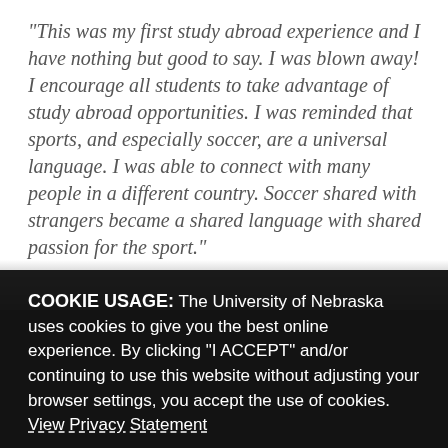"This was my first study abroad experience and I have nothing but good to say. I was blown away! I encourage all students to take advantage of study abroad opportunities. I was reminded that sports, and especially soccer, are a universal language. I was able to connect with many people in a different country. Soccer shared with strangers became a shared language with shared passion for the sport."
– Christine Center
COOKIE USAGE: The University of Nebraska uses cookies to give you the best online experience. By clicking "I ACCEPT" and/or continuing to use this website without adjusting your browser settings, you accept the use of cookies. View Privacy Statement
[Figure (photo): Photo strip at bottom showing International Student Research Forum event and an audience photo]